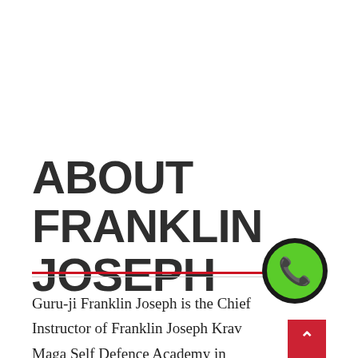ABOUT FRANKLIN JOSEPH
Guru-ji Franklin Joseph is the Chief Instructor of Franklin Joseph Krav Maga Self Defence Academy in Bengaluru, Mumbai, Dharwad &